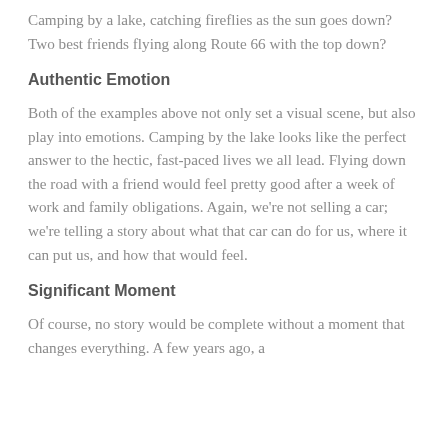Camping by a lake, catching fireflies as the sun goes down? Two best friends flying along Route 66 with the top down?
Authentic Emotion
Both of the examples above not only set a visual scene, but also play into emotions. Camping by the lake looks like the perfect answer to the hectic, fast-paced lives we all lead. Flying down the road with a friend would feel pretty good after a week of work and family obligations. Again, we’re not selling a car; we’re telling a story about what that car can do for us, where it can put us, and how that would feel.
Significant Moment
Of course, no story would be complete without a moment that changes everything. A few years ago, a